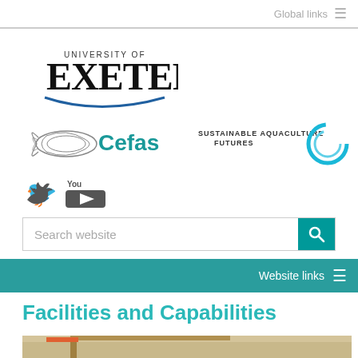Global links ≡
[Figure (logo): University of Exeter logo with arc and text]
[Figure (logo): Cefas logo with fish graphic and teal text]
[Figure (logo): Sustainable Aquaculture Futures logo with circular graphic]
[Figure (logo): Twitter bird icon]
[Figure (logo): YouTube icon]
Search website
Website links ≡
Facilities and Capabilities
[Figure (photo): Photograph of wooden crane or dock structure against sky]